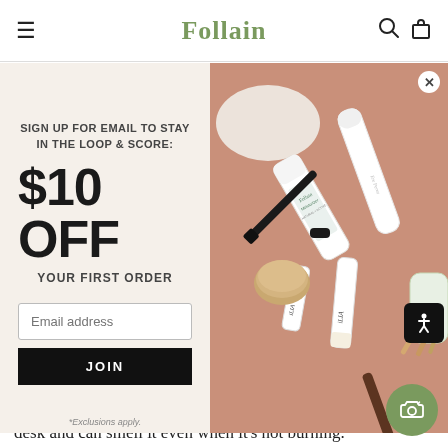Follain
[Figure (screenshot): Popup modal with left panel (cream background) showing email signup offer for $10 OFF your first order with email input and JOIN button, and right panel showing beauty/skincare products (Follain Moisturizer, ILIA products, lip balm) on a pink-terracotta background]
*Exclusions apply.
I absolutely love this candle. I use it in my small-[…] bedroom and it smells lovely and natural. I leave it […] desk and can smell it even when it's not burning.